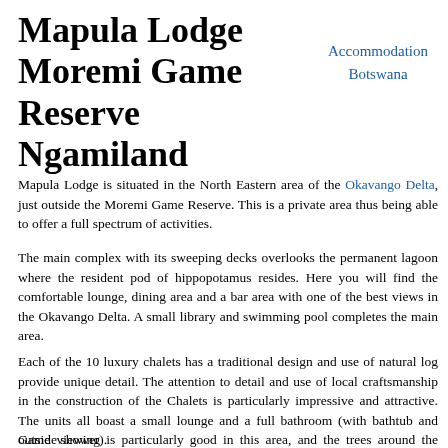Mapula Lodge Moremi Game Reserve Ngamiland
Accommodation
Botswana
Mapula Lodge is situated in the North Eastern area of the Okavango Delta, just outside the Moremi Game Reserve. This is a private area thus being able to offer a full spectrum of activities.
The main complex with its sweeping decks overlooks the permanent lagoon where the resident pod of hippopotamus resides. Here you will find the comfortable lounge, dining area and a bar area with one of the best views in the Okavango Delta. A small library and swimming pool completes the main area.
Each of the 10 luxury chalets has a traditional design and use of natural log provide unique detail. The attention to detail and use of local craftsmanship in the construction of the Chalets is particularly impressive and attractive. The units all boast a small lounge and a full bathroom (with bathtub and outside shower).
Game viewing is particularly good in this area, and the trees around the Lodge are home to a huge variety of birds.